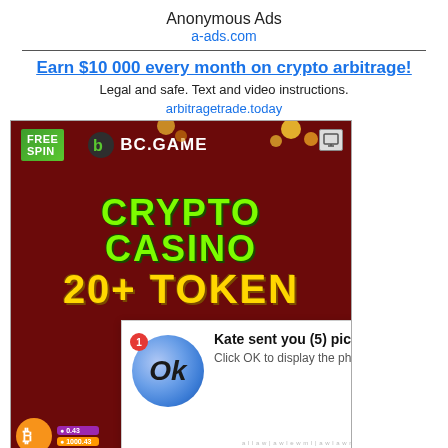Anonymous Ads
a-ads.com
Earn $10 000 every month on crypto arbitrage!
Legal and safe. Text and video instructions.
arbitragetrade.today
[Figure (photo): BC.GAME crypto casino advertisement banner showing FREE SPIN offer, CRYPTO CASINO 20+ TOKEN text with notification popup from ClickAdilla saying Kate sent you (5) pictures, Click OK to display the photo]
Ads By ClickAdilla  cgo